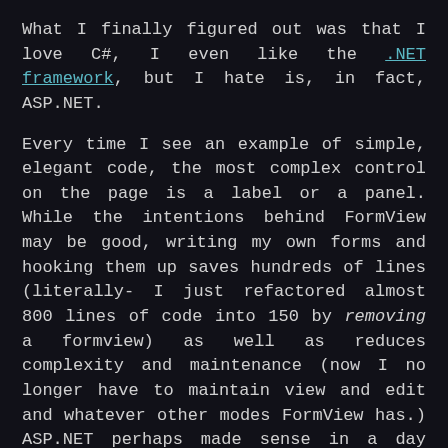What I finally figured out was that I love C#, I even like the .NET framework, but I hate is, in fact, ASP.NET.
Every time I see an example of simple, elegant code, the most complex control on the page is a label or a panel. While the intentions behind FormView may be good, writing my own forms and hooking them up saves hundreds of lines (literally- I just refactored almost 800 lines of code into 150 by removing a formview) as well as reduces complexity and maintenance (now I no longer have to maintain view and edit and whatever other modes FormView has.) ASP.NET perhaps made sense in a day before OO principles and ORMs came into play; the controls were written for the same kind of people that use the drag-and-drop design mode. Easy to slap down haphazardly, not so easy to maintain.
We replaced every ASP.NET Ajax control we used anywhere (after I evangelized it, to my chagrin) with